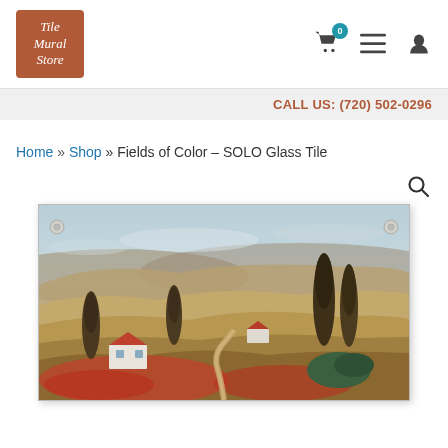Tile Mural Store — navigation with cart (0), menu, and user icons
CALL US: (720) 502-0296
Home » Shop » Fields of Color – SOLO Glass Tile
[Figure (photo): Tuscan landscape painting on a glass tile panel, showing rolling hills, cypress trees, red poppy fields, a white farmhouse with red roof, a winding dirt path, and a pastel sky. Mounted glass panel with visible mounting hardware at corners.]